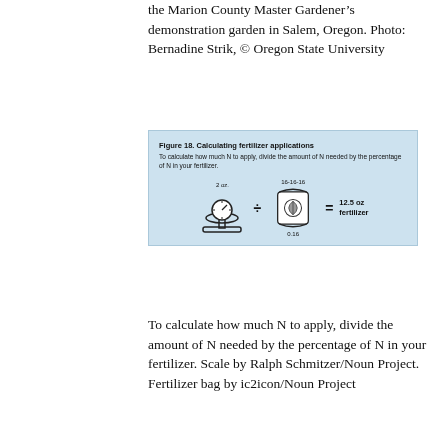the Marion County Master Gardener’s demonstration garden in Salem, Oregon. Photo: Bernadine Strik, © Oregon State University
[Figure (infographic): Figure 18. Calculating fertilizer applications. Shows a scale (2 oz.) divided by a fertilizer bag (16-16-16 / 0.16) equals 12.5 oz fertilizer. Text: To calculate how much N to apply, divide the amount of N needed by the percentage of N in your fertilizer.]
To calculate how much N to apply, divide the amount of N needed by the percentage of N in your fertilizer. Scale by Ralph Schmitzer/Noun Project. Fertilizer bag by ic2icon/Noun Project